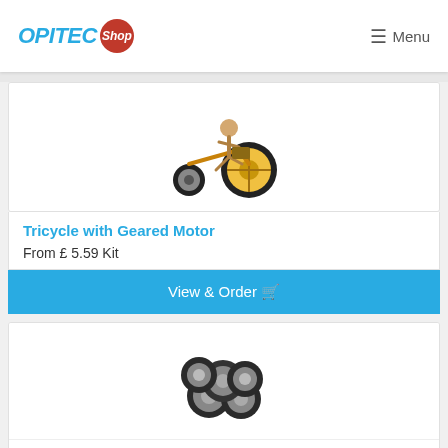OPITEC Shop — Menu
[Figure (photo): Tricycle with Geared Motor product photo — wooden figure riding a tricycle with yellow rear wheel]
Tricycle with Geared Motor
From £ 5.59 Kit
View & Order
[Figure (photo): Tyres on Rim, Small — a cluster of small grey rubber tyres with silver rims]
Tyres on Rim, Small